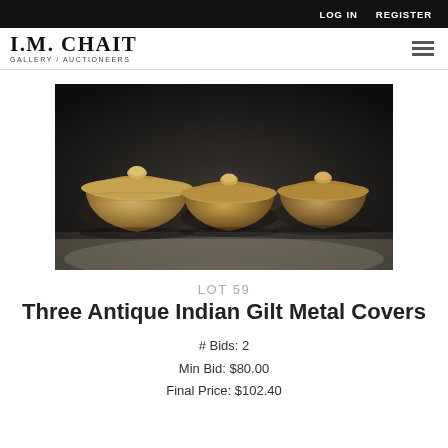LOG IN   REGISTER
I.M. CHAIT GALLERY / AUCTIONEERS
[Figure (photo): Three antique Indian gilt metal covers arranged side by side on a dark background. Each cover is a rounded bowl shape with a small round knob on top, showing aged gilt metal surfaces.]
LOT 59
Three Antique Indian Gilt Metal Covers
# Bids: 2
Min Bid: $80.00
Final Price: $102.40